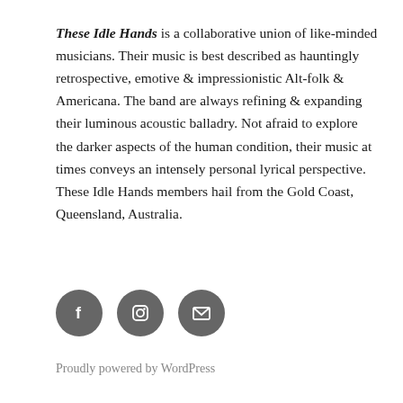These Idle Hands is a collaborative union of like-minded musicians. Their music is best described as hauntingly retrospective, emotive & impressionistic Alt-folk & Americana. The band are always refining & expanding their luminous acoustic balladry. Not afraid to explore the darker aspects of the human condition, their music at times conveys an intensely personal lyrical perspective. These Idle Hands members hail from the Gold Coast, Queensland, Australia.
[Figure (infographic): Three circular social media icon buttons: Facebook (f), Instagram (camera), and email (envelope), all in dark grey.]
Proudly powered by WordPress